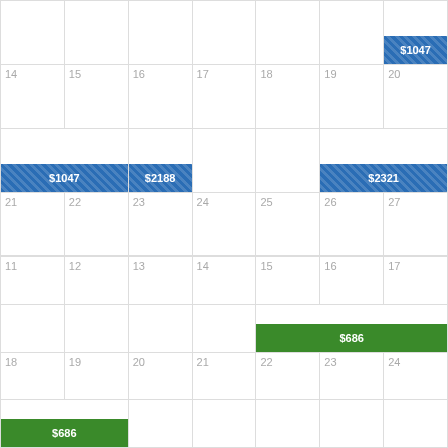|  |  |  |  |  |  | $1047 |
| 14 | 15 | 16 | 17 | 18 | 19 | 20 |
| $1047 (14-15) | $2188 (16) |  |  | $2321 (19-20) |  |  |
| 21 | 22 | 23 | 24 | 25 | 26 | 27 |
| $2321 (21) |  |  |  |  |  |  |
| 28 | 29 | 30 | 31 | 1 | 2 | 3 |
| 4 | 5 | 6 | 7 | 8 | 9 | 10 |
| 11 | 12 | 13 | 14 | 15 | 16 | 17 |
|  |  |  |  | $686 (15-17) |  |  |
| 18 | 19 | 20 | 21 | 22 | 23 | 24 |
| $686 (18-19) |  |  |  |  |  |  |